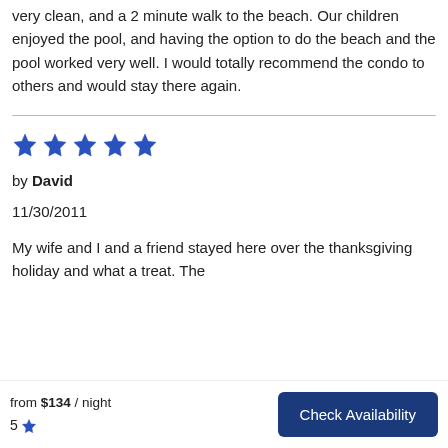very clean, and a 2 minute walk to the beach. Our children enjoyed the pool, and having the option to do the beach and the pool worked very well. I would totally recommend the condo to others and would stay there again.
[Figure (other): 5 blue star rating icons]
by David
11/30/2011
My wife and I and a friend stayed here over the thanksgiving holiday and what a treat. The
from $134 / night  5 ★   Check Availability